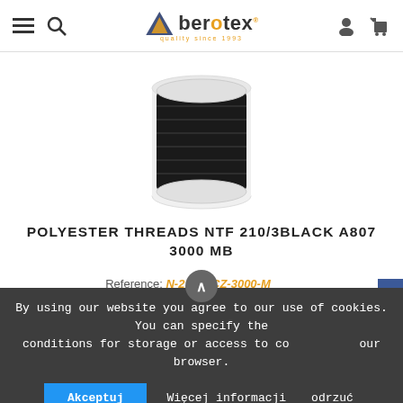berotex - navigation header with hamburger menu, search, logo, user and cart icons
[Figure (photo): Black polyester thread spool on white background, top portion visible]
POLYESTER THREADS NTF 210/3BLACK A807 3000 MB
Reference: N-210/3-CZ-3000-M
Availability: in stock
1,02 € tax exc./ pcs
1,26 € tax incl./ pcs
By using our website you agree to our use of cookies. You can specify the conditions for storage or access to cookies in your browser.